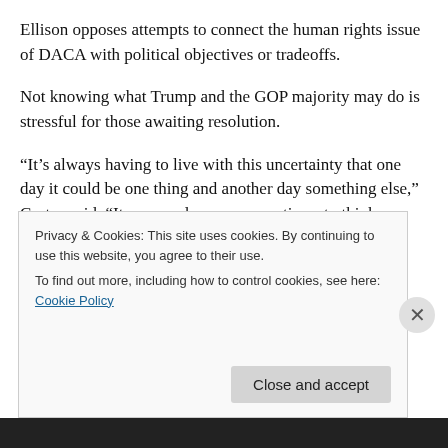Ellison opposes attempts to connect the human rights issue of DACA with political objectives or tradeoffs.
Not knowing what Trump and the GOP majority may do is stressful for those awaiting resolution.
“It’s always having to live with this uncertainty that one day it could be one thing and another day something else,” Cortez said. “It can paralyze you sometimes to think you don’t know what’s going to happen next.”
“We could have made this a priority without inserting so
Privacy & Cookies: This site uses cookies. By continuing to use this website, you agree to their use.
To find out more, including how to control cookies, see here: Cookie Policy